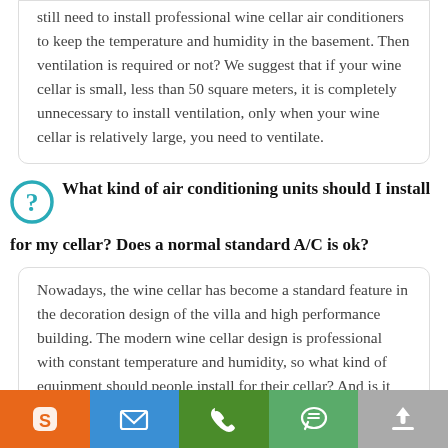still need to install professional wine cellar air conditioners to keep the temperature and humidity in the basement. Then ventilation is required or not? We suggest that if your wine cellar is small, less than 50 square meters, it is completely unnecessary to install ventilation, only when your wine cellar is relatively large, you need to ventilate.
What kind of air conditioning units should I install for my cellar? Does a normal standard A/C is ok?
Nowadays, the wine cellar has become a standard feature in the decoration design of the villa and high performance building. The modern wine cellar design is professional with constant temperature and humidity, so what kind of equipment should people install for their cellar? And is it okay to install ordinary air-conditioning?